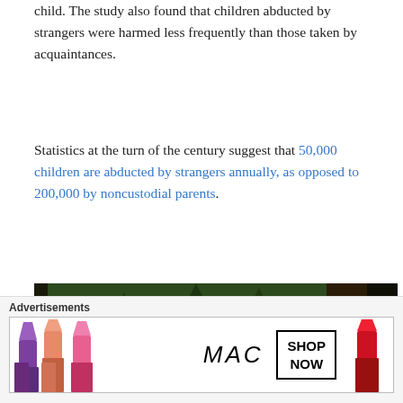child. The study also found that children abducted by strangers were harmed less frequently than those taken by acquaintances.
Statistics at the turn of the century suggest that 50,000 children are abducted by strangers annually, as opposed to 200,000 by noncustodial parents.
[Figure (photo): Aerial or elevated view of a dense forest with tall evergreen trees, green undergrowth, and reddish-brown forest floor; a small figure in white is barely visible in the middle distance on a path.]
Advertisements
[Figure (photo): MAC cosmetics advertisement banner showing colorful lipsticks on the left, MAC logo in the center, a 'SHOP NOW' box, and a red lipstick on the right.]